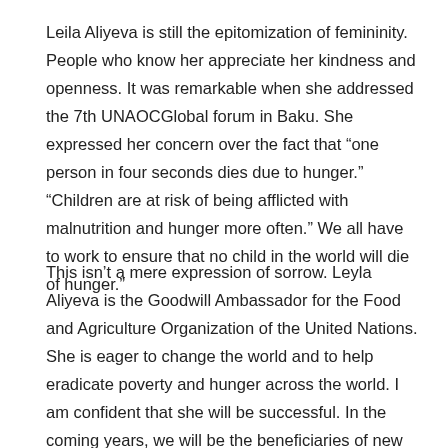Leila Aliyeva is still the epitomization of femininity. People who know her appreciate her kindness and openness. It was remarkable when she addressed the 7th UNAOCGlobal forum in Baku. She expressed her concern over the fact that “one person in four seconds dies due to hunger.” “Children are at risk of being afflicted with malnutrition and hunger more often.” We all have to work to ensure that no child in the world will die of hunger.”
This isn’t a mere expression of sorrow. Leyla Aliyeva is the Goodwill Ambassador for the Food and Agriculture Organization of the United Nations. She is eager to change the world and to help eradicate poverty and hunger across the world. I am confident that she will be successful. In the coming years, we will be the beneficiaries of new initiatives and projects. Recently, for instance she put forward an idea for the promotion of food security globally within the framework of the Baku process on intercultural dialogue.